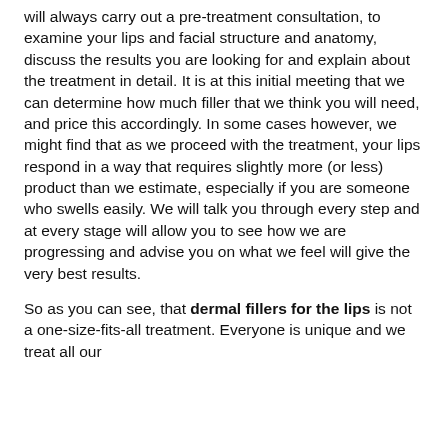will always carry out a pre-treatment consultation, to examine your lips and facial structure and anatomy, discuss the results you are looking for and explain about the treatment in detail. It is at this initial meeting that we can determine how much filler that we think you will need, and price this accordingly. In some cases however, we might find that as we proceed with the treatment, your lips respond in a way that requires slightly more (or less) product than we estimate, especially if you are someone who swells easily. We will talk you through every step and at every stage will allow you to see how we are progressing and advise you on what we feel will give the very best results.
So as you can see, that dermal fillers for the lips is not a one-size-fits-all treatment. Everyone is unique and we treat all our